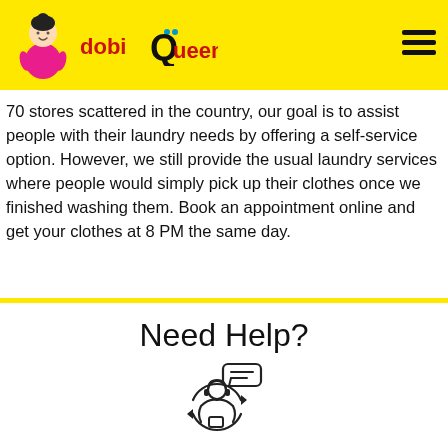dobi Queen
70 stores scattered in the country, our goal is to assist people with their laundry needs by offering a self-service option. However, we still provide the usual laundry services where people would simply pick up their clothes once we finished washing them. Book an appointment online and get your clothes at 8 PM the same day.
Need Help?
[Figure (illustration): Customer support / call center agent icon with speech bubble and circular arrows]
Call us 03 2935 9925